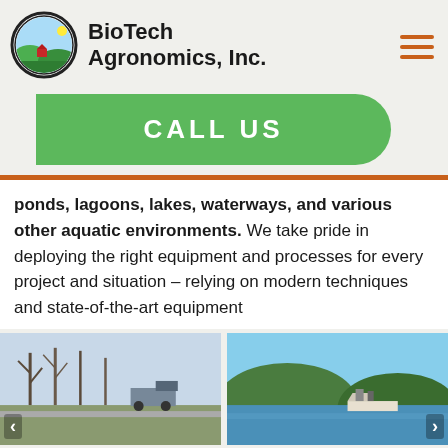BioTech Agronomics, Inc.
CALL US
ponds, lagoons, lakes, waterways, and various other aquatic environments. We take pride in deploying the right equipment and processes for every project and situation – relying on modern techniques and state-of-the-art equipment
[Figure (photo): Outdoor scene with bare trees and trucks or equipment, industrial/agricultural setting]
[Figure (photo): Lake or water body with green hills in background and a boat with equipment]